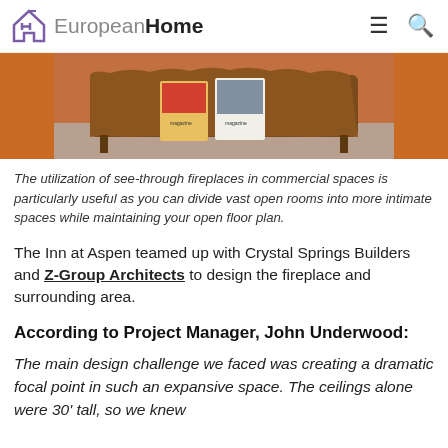European Home
[Figure (photo): Interior photo showing a wood slab coffee table on a rug between orange leather booth seats, with magazines on the table.]
The utilization of see-through fireplaces in commercial spaces is particularly useful as you can divide vast open rooms into more intimate spaces while maintaining your open floor plan.
The Inn at Aspen teamed up with Crystal Springs Builders and Z-Group Architects to design the fireplace and surrounding area.
According to Project Manager, John Underwood:
The main design challenge we faced was creating a dramatic focal point in such an expansive space. The ceilings alone were 30' tall, so we knew